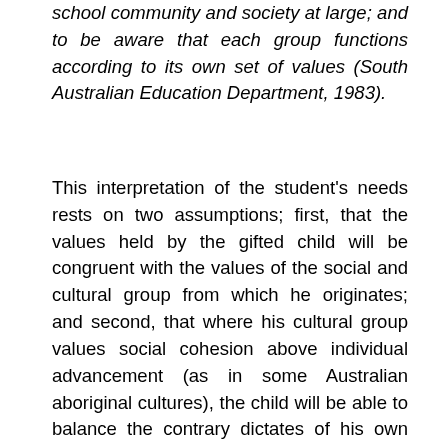school community and society at large; and to be aware that each group functions according to its own set of values (South Australian Education Department, 1983).
This interpretation of the student's needs rests on two assumptions; first, that the values held by the gifted child will be congruent with the values of the social and cultural group from which he originates; and second, that where his cultural group values social cohesion above individual advancement (as in some Australian aboriginal cultures), the child will be able to balance the contrary dictates of his own intellectual drives and the